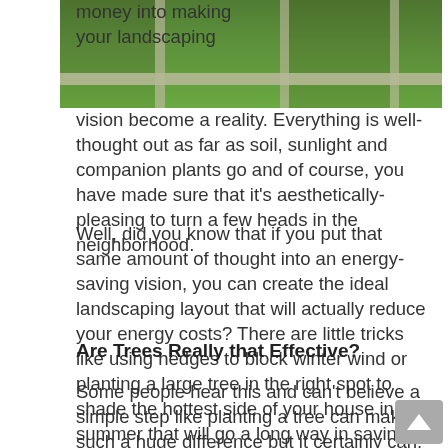[Figure (photo): Aerial view of green lawn landscaping with concrete pathways/sidewalks dividing grass sections]
money into making your landscaping vision become a reality. Everything is well-thought out as far as soil, sunlight and companion plants go and of course, you have made sure that it's aesthetically-pleasing to turn a few heads in the neighborhood.
Well, did you know that if you put that same amount of thought into an energy-saving vision, you can create the ideal landscaping layout that will actually reduce your energy costs? There are little tricks like using hedges to block winter wind or planting a large tree in the right spot to shade the hottest side of your house in the summer that will go a long way in saving you money.
Are Trees Really that Effective?
Some people hear this and can't believe a simple step like planting a tree can make such a huge difference but it certainly can. In fact, according to the U.S. Department of